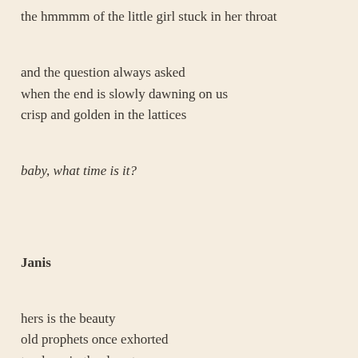the hmmmm of the little girl stuck in her throat
and the question always asked
when the end is slowly dawning on us
crisp and golden in the lattices
baby, what time is it?
Janis
hers is the beauty
old prophets once exhorted
too long in the desert